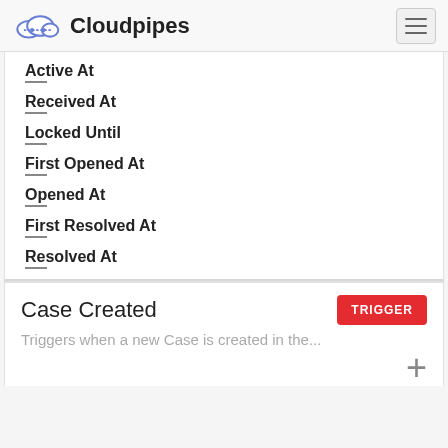Cloudpipes
Active At
—
Received At
—
Locked Until
—
First Opened At
—
Opened At
—
First Resolved At
—
Resolved At
—
Case Created
Triggers when a new Case is created in the...